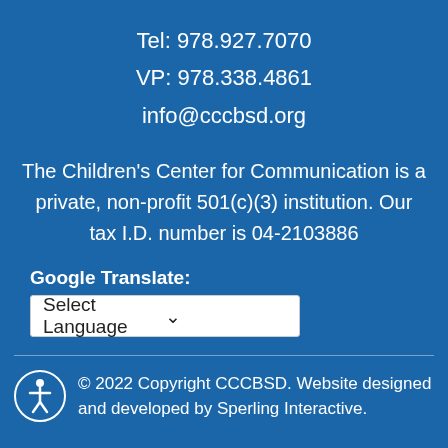Tel: 978.927.7070
VP: 978.338.4861
info@cccbsd.org
The Children's Center for Communication is a private, non-profit 501(c)(3) institution. Our tax I.D. number is 04-2103886
Google Translate:
Select Language
© 2022 Copyright CCCBSD. Website designed and developed by Sperling Interactive.